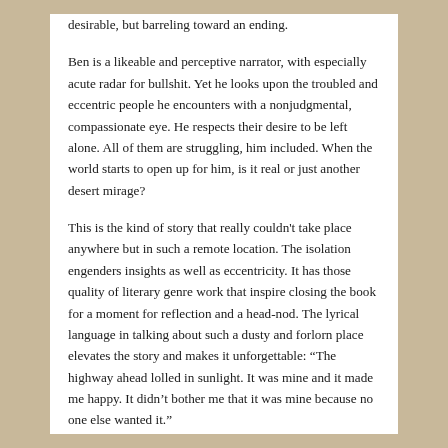desirable, but barreling toward an ending.
Ben is a likeable and perceptive narrator, with especially acute radar for bullshit. Yet he looks upon the troubled and eccentric people he encounters with a nonjudgmental, compassionate eye. He respects their desire to be left alone. All of them are struggling, him included. When the world starts to open up for him, is it real or just another desert mirage?
This is the kind of story that really couldn't take place anywhere but in such a remote location. The isolation engenders insights as well as eccentricity. It has those quality of literary genre work that inspire closing the book for a moment for reflection and a head-nod. The lyrical language in talking about such a dusty and forlorn place elevates the story and makes it unforgettable: “The highway ahead lolled in sunlight. It was mine and it made me happy. It didn’t bother me that it was mine because no one else wanted it.”